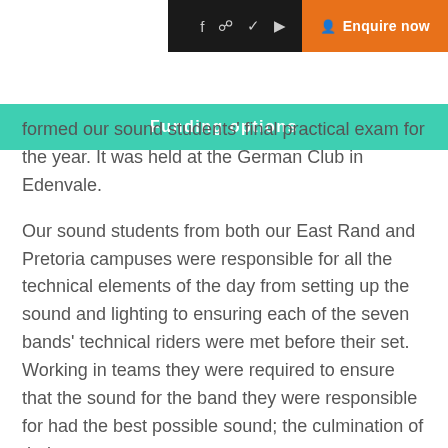[Figure (screenshot): Top navigation bar with social media icons (Facebook, Instagram, Twitter, YouTube) on dark background and orange 'Enquire now' button]
Funding options
formed our sound students' final practical exam for the year. It was held at the German Club in Edenvale.
Our sound students from both our East Rand and Pretoria campuses were responsible for all the technical elements of the day from setting up the sound and lighting to ensuring each of the seven bands' technical riders were met before their set. Working in teams they were required to ensure that the sound for the band they were responsible for had the best possible sound; the culmination of their